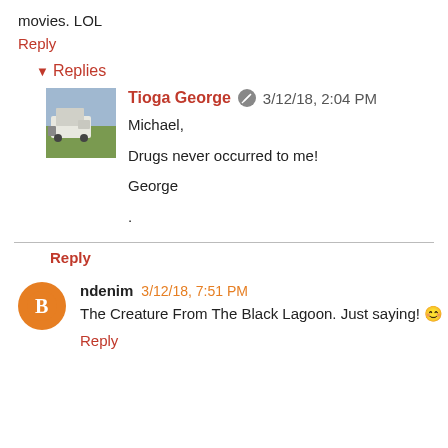movies. LOL
Reply
▾ Replies
Tioga George 🖊 3/12/18, 2:04 PM
Michael,

Drugs never occurred to me!

George

.
Reply
ndenim 3/12/18, 7:51 PM
The Creature From The Black Lagoon. Just saying! 😊
Reply